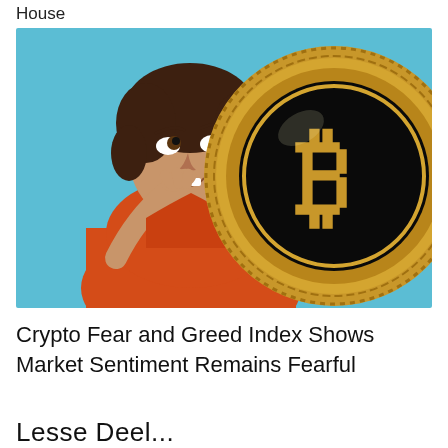House
[Figure (photo): A woman with short brown hair wearing an orange shirt biting her fingernails nervously, with a large gold Bitcoin coin displayed next to her, against a light blue background.]
Crypto Fear and Greed Index Shows Market Sentiment Remains Fearful
Lesse Deel...